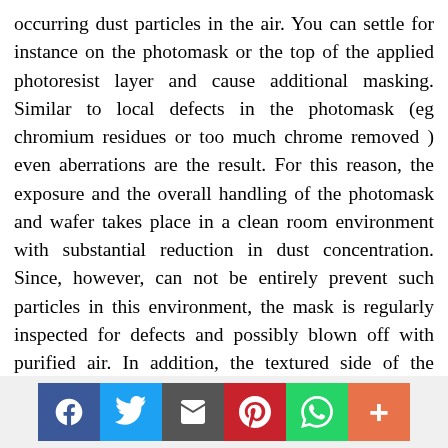occurring dust particles in the air. You can settle for instance on the photomask or the top of the applied photoresist layer and cause additional masking. Similar to local defects in the photomask (eg chromium residues or too much chrome removed ) even aberrations are the result. For this reason, the exposure and the overall handling of the photomask and wafer takes place in a clean room environment with substantial reduction in dust concentration. Since, however, can not be entirely prevent such particles in this environment, the mask is regularly inspected for defects and possibly blown off with purified air. In addition, the textured side of the photomask is protected by a so-called pellicle. A pellicle is a transparent protective film that is stretched at a
[Figure (infographic): Social media sharing bar with icons for Facebook, Twitter, Email, Pinterest, WhatsApp, and a plus/more button]